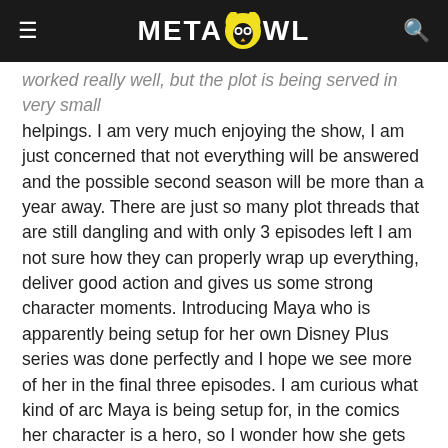METAHOWL
worked really well, but the plot is being served in very small helpings. I am very much enjoying the show, I am just concerned that not everything will be answered and the possible second season will be more than a year away. There are just so many plot threads that are still dangling and with only 3 episodes left I am not sure how they can properly wrap up everything, deliver good action and gives us some strong character moments. Introducing Maya who is apparently being setup for her own Disney Plus series was done perfectly and I hope we see more of her in the final three episodes. I am curious what kind of arc Maya is being setup for, in the comics her character is a hero, so I wonder how she gets there. In the comics Maya is able to copy actions of other (similar to Taskmaster), we sort of see this in the flashback. We do not know for sure if Maya has powers or if she is just very adept at adapting to situations. I do not think Clint and Kate could beat Maya in a fight without using their weapons, based on Maya's